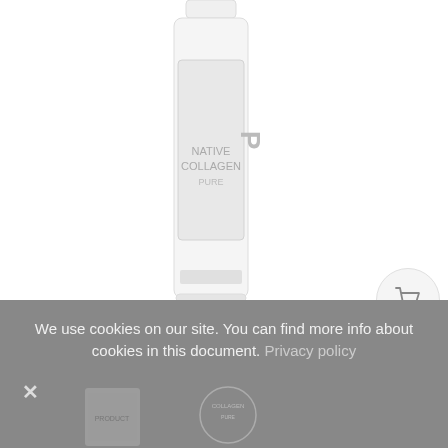[Figure (photo): White cylindrical bottle of Native Collagen Pure supplement, partially visible at top of page]
[Figure (illustration): Shopping cart icon inside a light gray circle, positioned top right]
Native Collagen Pure
51,95 €
[Figure (screenshot): Quantity selector showing 1 with up/down arrows, and black ADD TO CART button]
We use cookies on our site. You can find more info about cookies in this document. Privacy policy
[Figure (photo): Partial product images visible at the bottom of the cookie banner]